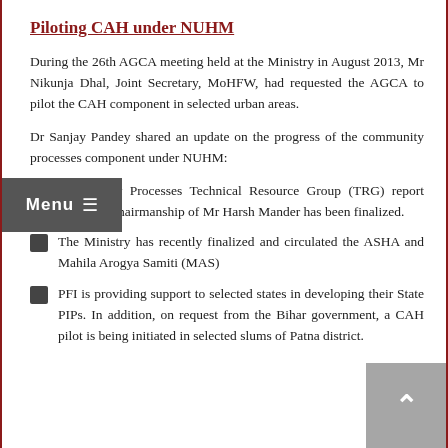Piloting CAH under NUHM
During the 26th AGCA meeting held at the Ministry in August 2013, Mr Nikunja Dhal, Joint Secretary, MoHFW, had requested the AGCA to pilot the CAH component in selected urban areas.
Dr Sanjay Pandey shared an update on the progress of the community processes component under NUHM:
Community Processes Technical Resource Group (TRG) report under the chairmanship of Mr Harsh Mander has been finalized.
The Ministry has recently finalized and circulated the ASHA and Mahila Arogya Samiti (MAS)
PFI is providing support to selected states in developing their State PIPs. In addition, on request from the Bihar government, a CAH pilot is being initiated in selected slums of Patna district.